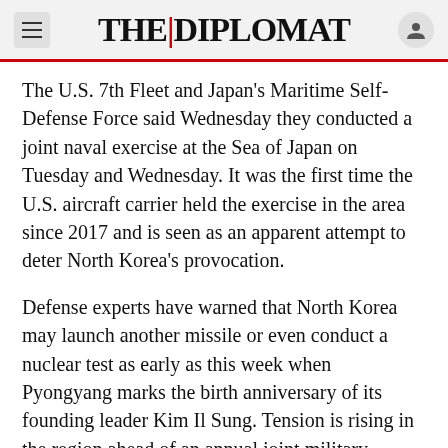THE DIPLOMAT
The U.S. 7th Fleet and Japan's Maritime Self-Defense Force said Wednesday they conducted a joint naval exercise at the Sea of Japan on Tuesday and Wednesday. It was the first time the U.S. aircraft carrier held the exercise in the area since 2017 and is seen as an apparent attempt to deter North Korea's provocation.
Defense experts have warned that North Korea may launch another missile or even conduct a nuclear test as early as this week when Pyongyang marks the birth anniversary of its founding leader Kim Il Sung. Tension is rising in the region ahead of an annual joint military exercise between the United States and South Korea.
Japan has also stepped up joint military exercises